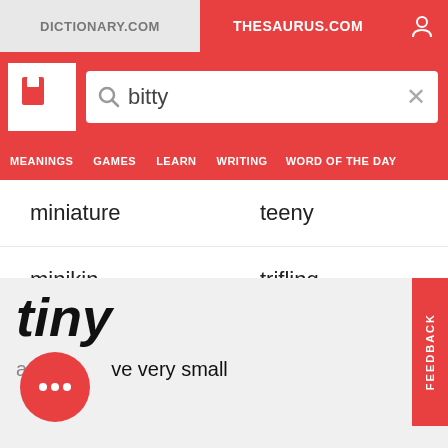DICTIONARY.COM | THESAURUS.COM
bitty
MEANINGS  GAMES  LEARN  WRITING  WORD OF THE DAY
miniature
teeny
minikin
trifling
minimum
wee
minuscular
yea big
tiny
adjective very small